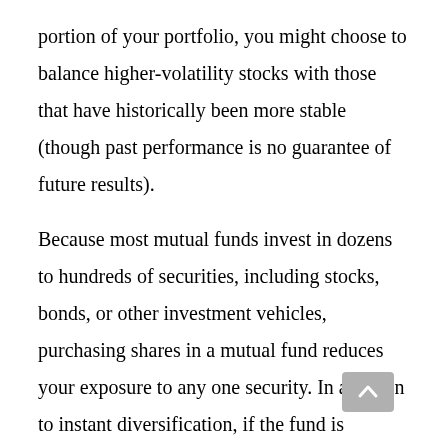portion of your portfolio, you might choose to balance higher-volatility stocks with those that have historically been more stable (though past performance is no guarantee of future results).

Because most mutual funds invest in dozens to hundreds of securities, including stocks, bonds, or other investment vehicles, purchasing shares in a mutual fund reduces your exposure to any one security. In addition to instant diversification, if the fund is actively managed, you get the benefit of a professional money manager making investment